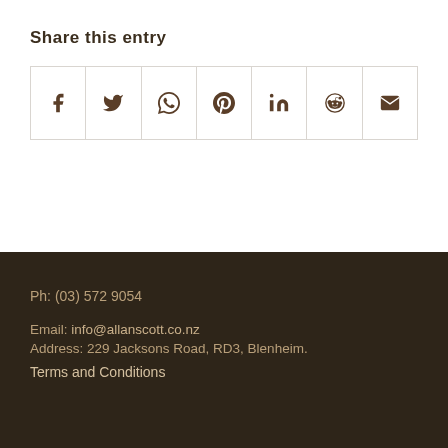Share this entry
[Figure (other): Social media sharing icons row: Facebook, Twitter, WhatsApp, Pinterest, LinkedIn, Reddit, Email]
Ph: (03) 572 9054
Email: info@allanscott.co.nz
Address: 229 Jacksons Road, RD3, Blenheim.
Terms and Conditions